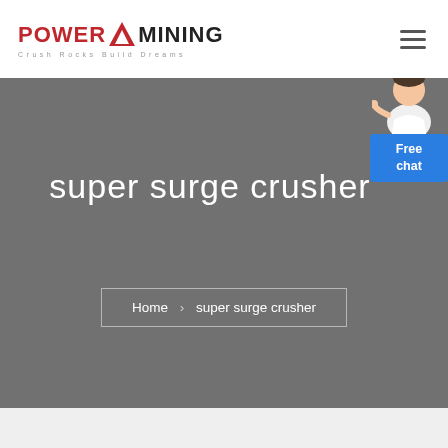[Figure (logo): Power Mining logo with red triangle icon, text POWER MINING in bold, tagline Crush Rocks Build Dreams]
super surge crusher
Home > super surge crusher
[Figure (illustration): Customer service representative with Free chat button widget]